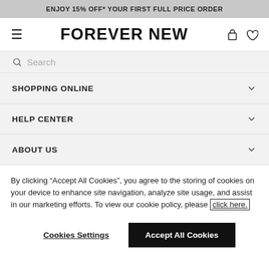ENJOY 15% OFF* YOUR FIRST FULL PRICE ORDER
FOREVER NEW
Search
SHOPPING ONLINE
HELP CENTER
ABOUT US
By clicking “Accept All Cookies”, you agree to the storing of cookies on your device to enhance site navigation, analyze site usage, and assist in our marketing efforts. To view our cookie policy, please click here.
Cookies Settings
Accept All Cookies